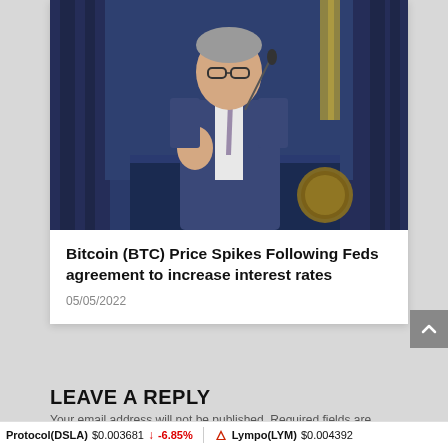[Figure (photo): Man in suit speaking at a podium with microphone, government setting with blue curtains and official seal]
Bitcoin (BTC) Price Spikes Following Feds agreement to increase interest rates
05/05/2022
LEAVE A REPLY
Your email address will not be published. Required fields are
Protocol(DSLA) $0.003681 ↓ -6.85% Lympo(LYM) $0.004392